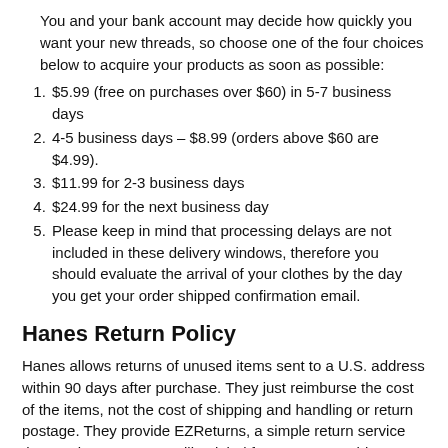You and your bank account may decide how quickly you want your new threads, so choose one of the four choices below to acquire your products as soon as possible:
$5.99 (free on purchases over $60) in 5-7 business days
4-5 business days – $8.99 (orders above $60 are $4.99).
$11.99 for 2-3 business days
$24.99 for the next business day
Please keep in mind that processing delays are not included in these delivery windows, therefore you should evaluate the arrival of your clothes by the day you get your order shipped confirmation email.
Hanes Return Policy
Hanes allows returns of unused items sent to a U.S. address within 90 days after purchase. They just reimburse the cost of the items, not the cost of shipping and handling or return postage. They provide EZReturns, a simple return service that produces a DHL mailing label for your return shipment.
How to Contact Hanes Deals Customer Service